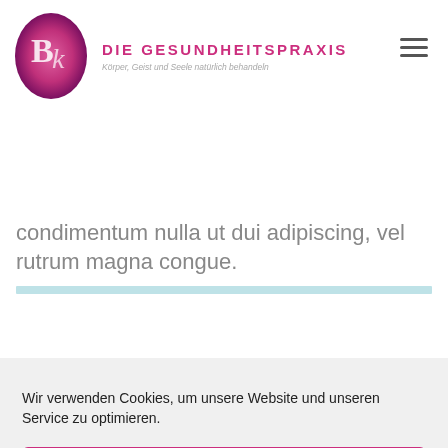[Figure (logo): BK Die Gesundheitspraxis logo — oval pink/purple gradient with BK monogram, brand name DIE GESUNDHEITSPRAXIS in pink, subtitle Körper, Geist und Seele natürlich behandeln in grey italic]
condimentum nulla ut dui adipiscing, vel rutrum magna congue.
Wir verwenden Cookies, um unsere Website und unseren Service zu optimieren.
Cookies akzeptieren
Ablehnen
Einstellungen anzeigen
Cookie-Richtlinie  Datenschutzerklärung  Impressum